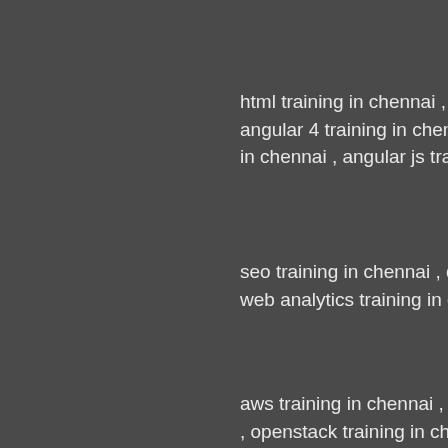html training in chennai , css angular 4 training in chennai , in chennai , angular js training
seo training in chennai , digital web analytics training in chenn
aws training in chennai , workd , openstack training in chennai